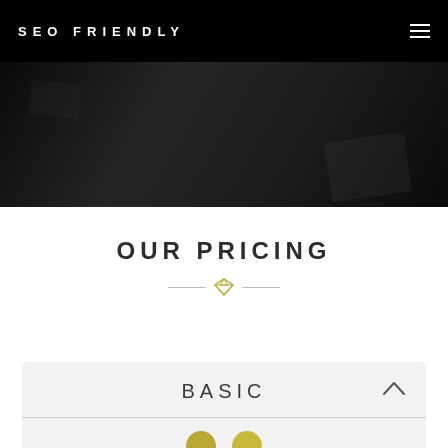SEO FRIENDLY
[Figure (photo): Dark background hero image showing a desk/laptop scene with very dark overlay]
OUR PRICING
[Figure (illustration): Gold diamond icon with horizontal divider lines on each side]
BASIC